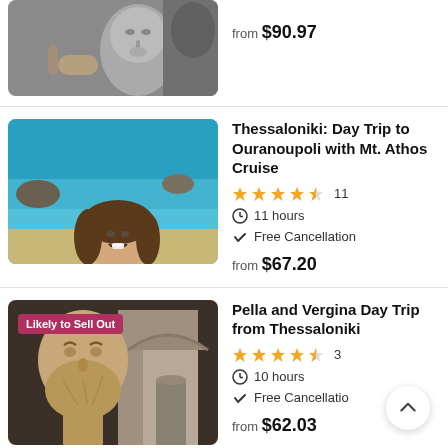[Figure (photo): Partial view of a museum/sculpture tour image (hands working on a stone face sculpture)]
from $90.97
[Figure (photo): Smiling young woman on a beach with clear turquoise water and rocks in the background]
Thessaloniki: Day Trip to Ouranoupoli with Mt. Athos Cruise
★★★★½  11
11 hours
Free Cancellation
from $67.20
[Figure (photo): Marble bust of a bearded man (ancient Greek/Roman sculpture) with an architectural interior (door/arch) behind, with a 'Likely to Sell Out' badge]
Pella and Vergina Day Trip from Thessaloniki
★★★★½  3
10 hours
Free Cancellation
from $62.03